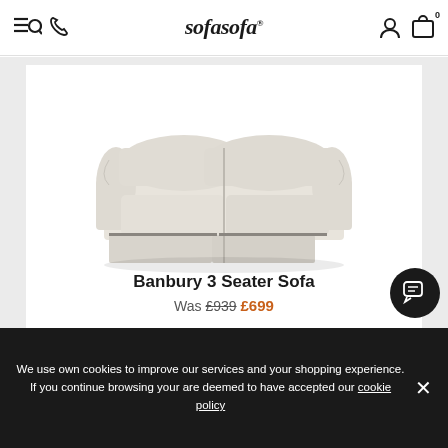sofasofa
[Figure (photo): Cream/off-white fabric 3-seater sofa with rolled arms and a skirted base, photographed against a white background]
Banbury 3 Seater Sofa
Was £939 £699
We use own cookies to improve our services and your shopping experience. If you continue browsing your are deemed to have accepted our cookie policy